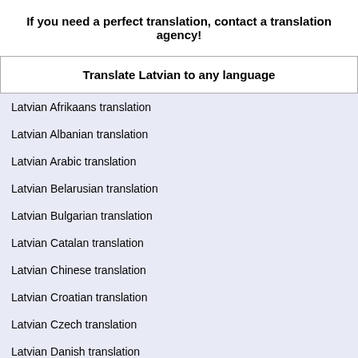If you need a perfect translation, contact a translation agency!
Translate Latvian to any language
Latvian Afrikaans translation
Latvian Albanian translation
Latvian Arabic translation
Latvian Belarusian translation
Latvian Bulgarian translation
Latvian Catalan translation
Latvian Chinese translation
Latvian Croatian translation
Latvian Czech translation
Latvian Danish translation